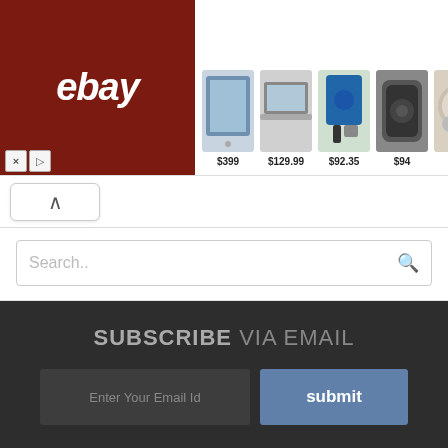[Figure (screenshot): eBay advertisement banner with product images and prices: tablet $399, laptop $129.99, power tools $92.35, speaker $94, earbuds $169, headphones $199.99]
[Figure (screenshot): Collapse/up-arrow button]
[Figure (screenshot): Search bar with placeholder text 'Search..' and search icon]
SUBSCRIBE VIA EMAIL
Enter Your Email Id
submit
About   Contact   Privacy   Sitemap
© 2016 Check Latest News: Results and Recruitment 2020 - Template by Venkat